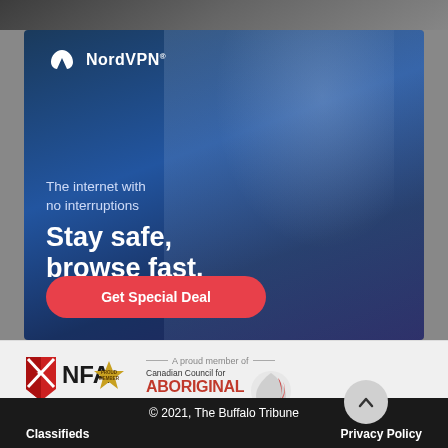[Figure (screenshot): Top strip: dark photo of people in background, partially visible]
[Figure (advertisement): NordVPN advertisement with dark blue background and woman using phone. Text: NordVPN logo, 'The internet with no interruptions', 'Stay safe, browse fast.', red button 'Get Special Deal']
[Figure (logo): NFA Proud Member badge logo (shield with red/white design and gold badge)]
[Figure (logo): Canadian Council for Aboriginal Business logo with red feather graphic]
A proud member of
© 2021, The Buffalo Tribune
Classifieds
Privacy Policy